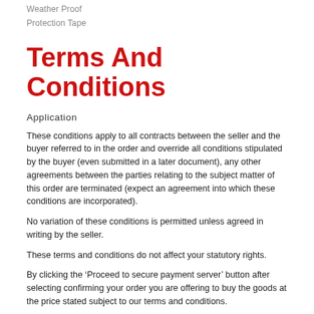Weather Proof
Protection Tape
Terms And Conditions
Application
These conditions apply to all contracts between the seller and the buyer referred to in the order and override all conditions stipulated by the buyer (even submitted in a later document), any other agreements between the parties relating to the subject matter of this order are terminated (expect an agreement into which these conditions are incorporated).
No variation of these conditions is permitted unless agreed in writing by the seller.
These terms and conditions do not affect your statutory rights.
By clicking the ‘Proceed to secure payment server’ button after selecting confirming your order you are offering to buy the goods at the price stated subject to our terms and conditions.
We reserve the right, at our discretion, to refuse to supply goods you order.
Payment